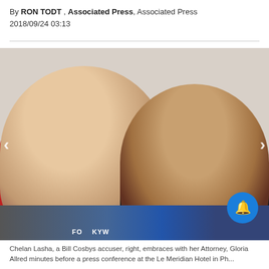By RON TODT , Associated Press, Associated Press
2018/09/24 03:13
[Figure (photo): Two women leaning together smiling. The woman on the left wears a red jacket and gold necklace; the woman on the right wears a dark striped top. Microphones from FOX and KYW are visible at the bottom. Navigation arrows appear on the left and right sides. A blue notification bell button is visible in the lower right.]
Chelan Lasha, a Bill Cosbys accuser, right, embraces with her Attorney, Gloria Allred minutes before a press conference at the Le Meridian Hotel in Ph...